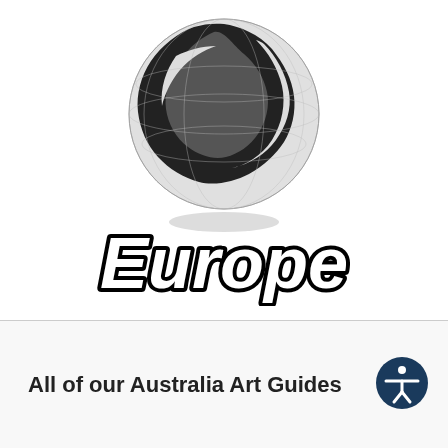[Figure (logo): A black and white globe logo with landmasses visible, with a gray shadow beneath it, followed by the word 'Europe' in large bold italic black text with white inner fill and thick black outline/stroke]
All of our Australia Art Guides
[Figure (logo): Accessibility icon: a circular dark blue badge with a white stick figure person with outstretched arms (universal accessibility symbol)]